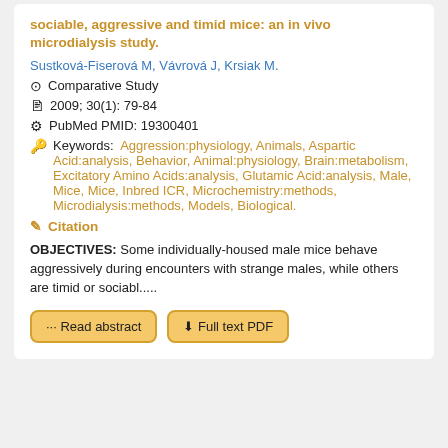sociable, aggressive and timid mice: an in vivo microdialysis study.
Sustková-Fiserová M, Vávrová J, Krsiak M.
Comparative Study
2009; 30(1): 79-84
PubMed PMID: 19300401
Keywords: Aggression:physiology, Animals, Aspartic Acid:analysis, Behavior, Animal:physiology, Brain:metabolism, Excitatory Amino Acids:analysis, Glutamic Acid:analysis, Male, Mice, Mice, Inbred ICR, Microchemistry:methods, Microdialysis:methods, Models, Biological.
Citation
OBJECTIVES: Some individually-housed male mice behave aggressively during encounters with strange males, while others are timid or sociabl.....
Read abstract
Full text PDF